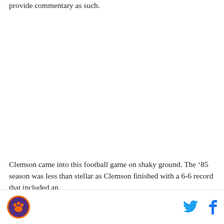provide commentary as such.
Clemson came into this football game on shaky ground. The ‘85 season was less than stellar as Clemson finished with a 6-6 record that included an
Clemson logo, Twitter icon, Facebook icon